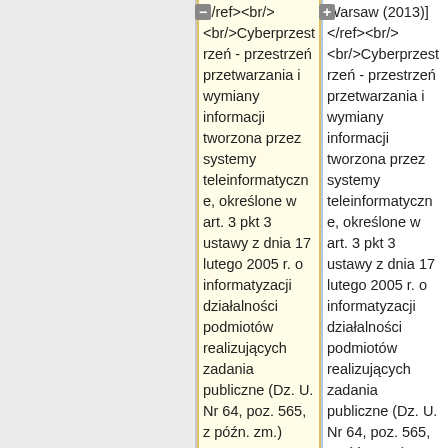</ref><br/><br/>Cyberprzestrzeń - przestrzeń przetwarzania i wymiany informacji tworzona przez systemy teleinformatyczne, określone w art. 3 pkt 3 ustawy z dnia 17 lutego 2005 r. o informatyzacji działalności podmiotów realizujących zadania publiczne (Dz. U. Nr 64, poz. 565, z późn. zm.) wraz z powiązaniami
Warsaw (2013)]</ref><br/><br/>Cyberprzestrzeń - przestrzeń przetwarzania i wymiany informacji tworzona przez systemy teleinformatyczne, określone w art. 3 pkt 3 ustawy z dnia 17 lutego 2005 r. o informatyzacji działalności podmiotów realizujących zadania publiczne (Dz. U. Nr 64, poz. 565, z późn. zm.) wraz z